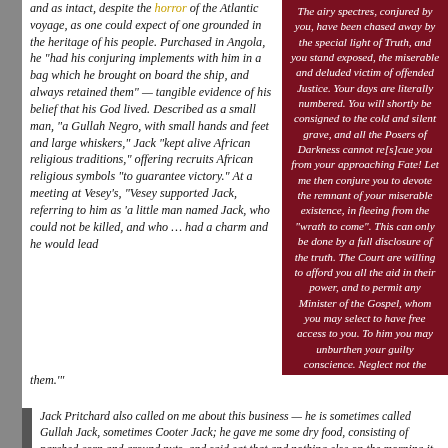and as intact, despite the horror of the Atlantic voyage, as one could expect of one grounded in the heritage of his people. Purchased in Angola, he "had his conjuring implements with him in a bag which he brought on board the ship, and always retained them" — tangible evidence of his belief that his God lived. Described as a small man, "a Gullah Negro, with small hands and feet and large whiskers," Jack "kept alive African religious traditions," offering recruits African religious symbols "to guarantee victory." At a meeting at Vesey's, "Vesey supported Jack, referring to him as 'a little man named Jack, who could not be killed, and who … had a charm and he would lead them.'"
The airy spectres, conjured by you, have been chased away by the special light of Truth, and you stand exposed, the miserable and deluded victim of offended Justice. Your days are literally numbered. You will shortly be consigned to the cold and silent grave, and all the Posers of Darkness cannot re[s]cue you from your approaching Fate! Let me then conjure you to devote the remnant of your miserable existence, in fleeing from the "wrath to come". This can only be done by a full disclosure of the truth. The Court are willing to afford you all the aid in their power, and to permit any Minister of the Gospel, whom you may select to have free access to you. To him you may unburthen your guilty conscience. Neglect not the opportunity, for there is "no device nor art beyond the tomb," to which you must shortly be consigned.
Jack Pritchard also called on me about this business — he is sometimes called Gullah Jack, sometimes Cooter Jack; he gave me some dry food, consisting of parched corn and ground nuts, and said eat that and nothing else on the morning it breaks out … and you can't be wounded, and said he, I give the same to the rest of my troops.